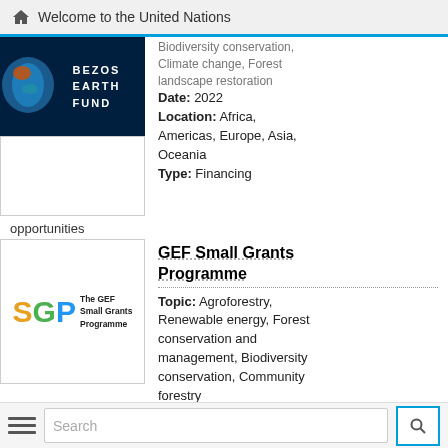Welcome to the United Nations
[Figure (logo): Bezos Earth Fund logo — dark blue background with globe graphic and white text reading BEZOS EARTH FUND]
Biodiversity conservation, Climate change, Forest landscape restoration
Date: 2022
Location: Africa, Americas, Europe, Asia, Oceania
Type: Financing
opportunities
[Figure (logo): SGP - The GEF Small Grants Programme logo with colorful S, G, P letters]
GEF Small Grants Programme
Topic: Agroforestry, Renewable energy, Forest conservation and management, Biodiversity conservation, Community forestry
Date: 2021
Search